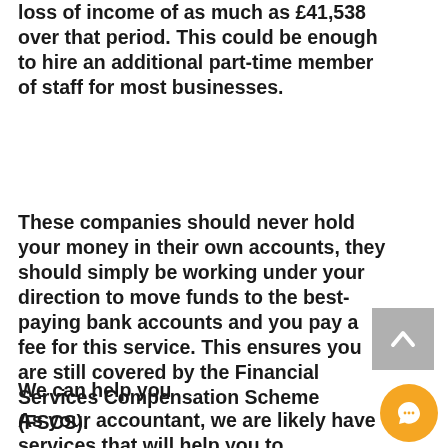loss of income of as much as £41,538 over that period. This could be enough to hire an additional part-time member of staff for most businesses.
These companies should never hold your money in their own accounts, they should simply be working under your direction to move funds to the best-paying bank accounts and you pay a fee for this service. This ensures you are still covered by the Financial Services Compensation Scheme (FSCS).
We can help you
As your accountant, we are likely have services that will help you to
[Figure (other): Back to top button — grey square with upward chevron arrow]
[Figure (other): Chat button — orange circle with speech bubble icon]